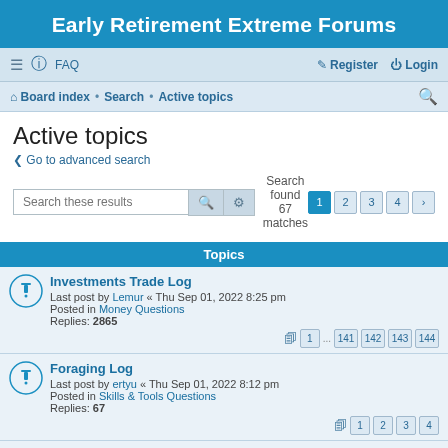Early Retirement Extreme Forums
≡  FAQ    Register  Login
Board index · Search · Active topics
Active topics
< Go to advanced search
Search these results    Search found 67 matches  1 2 3 4 >
Topics
Investments Trade Log
Last post by Lemur « Thu Sep 01, 2022 8:25 pm
Posted in Money Questions
Replies: 2865
Pages: 1 ... 141 142 143 144
Foraging Log
Last post by ertyu « Thu Sep 01, 2022 8:12 pm
Posted in Skills & Tools Questions
Replies: 67
Pages: 1 2 3 4
mountainFrugal Journal
Last post by mooretrees « Thu Sep 01, 2022 8:06 pm
Posted in ERE Journals